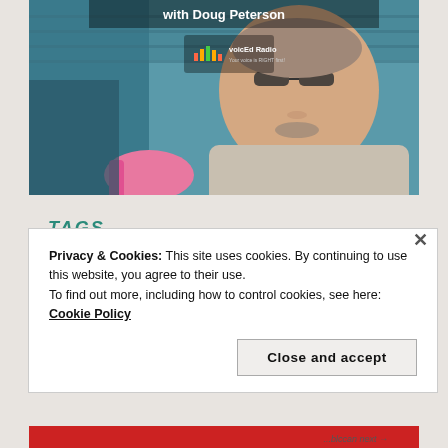[Figure (photo): Photo of a man wearing sunglasses and a beige jacket, sitting in stadium seating with teal/blue seats in background. Text overlay reads 'with Doug Peterson' and shows 'voicEd Radio' logo. He is holding a pink object.]
TAGS
Privacy & Cookies: This site uses cookies. By continuing to use this website, you agree to their use.
To find out more, including how to control cookies, see here: Cookie Policy
Close and accept